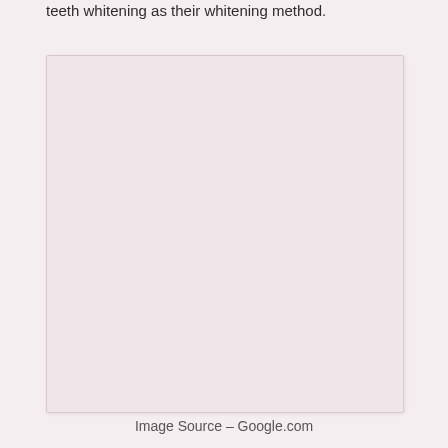teeth whitening as their whitening method.
[Figure (photo): A large light pink/blush colored rectangular image placeholder box, appearing to contain an image related to teeth whitening.]
Image Source – Google.com